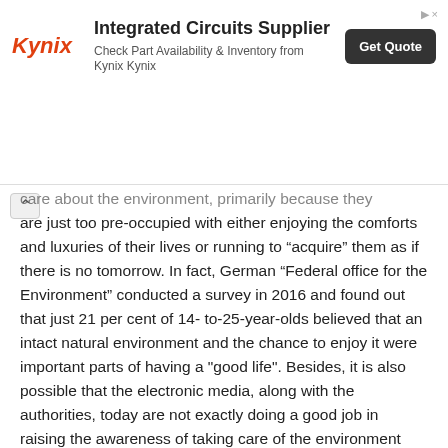[Figure (other): Kynix Integrated Circuits Supplier advertisement banner with logo, description text, and Get Quote button]
care about the environment, primarily because they are just too pre-occupied with either enjoying the comforts and luxuries of their lives or running to “acquire” them as if there is no tomorrow. In fact, German “Federal office for the Environment” conducted a survey in 2016 and found out that just 21 per cent of 14- to-25-year-olds believed that an intact natural environment and the chance to enjoy it were important parts of having a "good life". Besides, it is also possible that the electronic media, along with the authorities, today are not exactly doing a good job in raising the awareness of taking care of the environment among the youth.
Q. 6. Environmental problems are too big to be dealt at the individual level. Do you agree? Why/Why not?